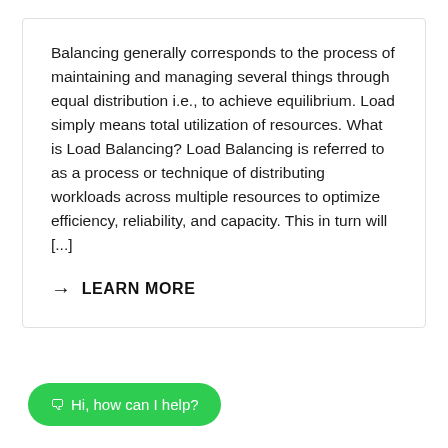Balancing generally corresponds to the process of maintaining and managing several things through equal distribution i.e., to achieve equilibrium. Load simply means total utilization of resources. What is Load Balancing? Load Balancing is referred to as a process or technique of distributing workloads across multiple resources to optimize efficiency, reliability, and capacity. This in turn will [...]
→ LEARN MORE
💬 Hi, how can I help?